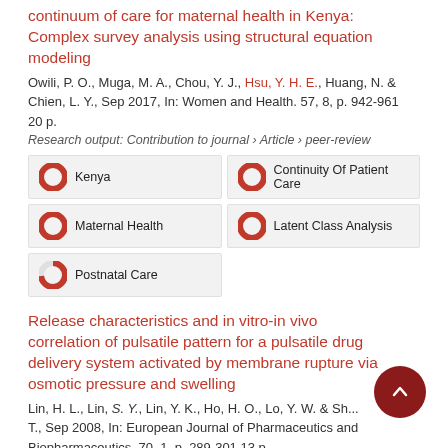continuum of care for maternal health in Kenya: Complex survey analysis using structural equation modeling
Owili, P. O., Muga, M. A., Chou, Y. J., Hsu, Y. H. E., Huang, N. & Chien, L. Y., Sep 2017, In: Women and Health. 57, 8, p. 942-961 20 p.
Research output: Contribution to journal › Article › peer-review
Kenya
Continuity Of Patient Care
Maternal Health
Latent Class Analysis
Postnatal Care
Release characteristics and in vitro-in vivo correlation of pulsatile pattern for a pulsatile drug delivery system activated by membrane rupture via osmotic pressure and swelling
Lin, H. L., Lin, S. Y., Lin, Y. K., Ho, H. O., Lo, Y. W. & Sh... T., Sep 2008, In: European Journal of Pharmaceutics and Biopharmaceutics. 70, 1, p. 289-301 13 p.